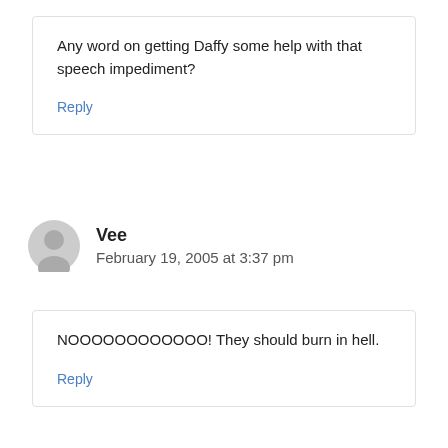Any word on getting Daffy some help with that speech impediment?
Reply
Vee
February 19, 2005 at 3:37 pm
NOOOOOOOOOOOO! They should burn in hell.
Reply